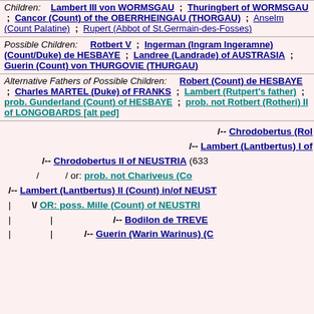Children: Lambert III von WORMSGAU ; Thuringbert of WORMSGAU ; Cancor (Count) of the OBERRHEINGAU (THORGAU) ; Anselm (Count Palatine) ; Rupert (Abbot of St.Germain-des-Fosses)
Possible Children: Rotbert V ; Ingerman (Ingram Ingeramne) (Count/Duke) de HESBAYE ; Landree (Landrade) of AUSTRASIA ; Guerin (Count) von THURGOVIE (THURGAU)
Alternative Fathers of Possible Children: Robert (Count) de HESBAYE ; Charles MARTEL (Duke) of FRANKS ; Lambert (Rutpert's father) ; prob. Gunderland (Count) of HESBAYE ; prob. not Rotbert (Rotheri) II of LONGOBARDS [alt ped]
[Figure (other): Genealogical tree diagram showing ancestry lines for Lambert (Lantbertus) II (Count) in/of NEUSTRIA, including Chrodobertus (Rol...), Lambert (Lantbertus) I of ..., Chrodobertus II of NEUSTRIA (633...), prob. not Chariveus (Co...), OR: poss. Mille (Count) of NEUSTRI..., Bodilon de TREVE..., Guerin (Warin Warinus) (C...]